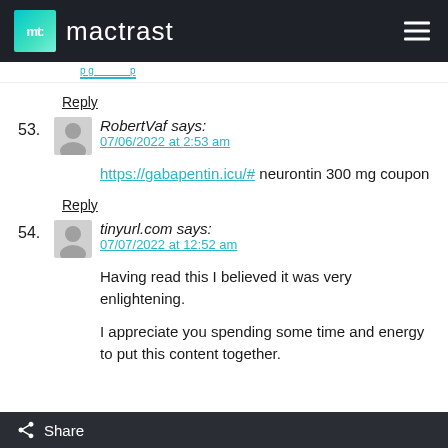mt mactrast
Reply
53. RobertVaf says: 07/06/2022 at 2:53 am
https://gabapentin.icu/# neurontin 300 mg coupon
Reply
54. tinyurl.com says: 07/07/2022 at 12:52 am
Having read this I believed it was very enlightening.
I appreciate you spending some time and energy to put this content together.
Share